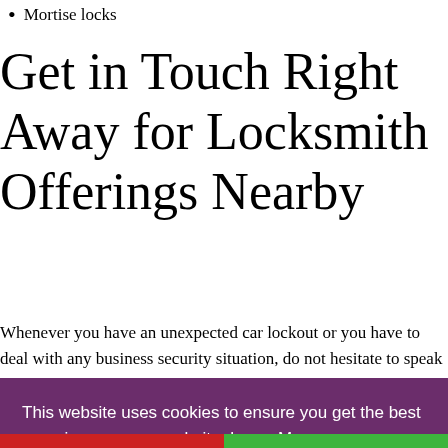Mortise locks
Get in Touch Right Away for Locksmith Offerings Nearby
Whenever you have an unexpected car lockout or you have to deal with any business security situation, do not hesitate to speak to us.
This website uses cookies to ensure you get the best experience on our website. Learn More
Got it!